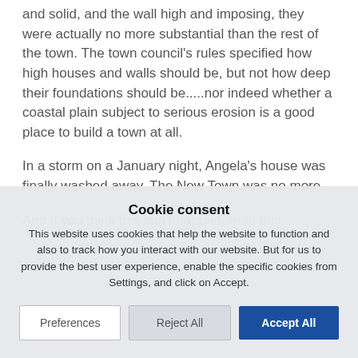How wrong she was. You see, although her house was large and solid, and the wall high and imposing, they were actually no more substantial than the rest of the town. The town council's rules specified how high houses and walls should be, but not how deep their foundations should be.....nor indeed whether a coastal plain subject to serious erosion is a good place to build a town at all.
In a storm on a January night, Angela's house was finally washed away. The New Town was no more.
And if you think this can't happen, read this.
Cookie consent
This website uses cookies that help the website to function and also to track how you interact with our website. But for us to provide the best user experience, enable the specific cookies from Settings, and click on Accept.